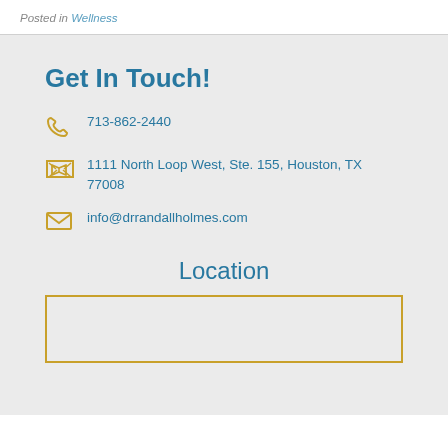Posted in Wellness
Get In Touch!
713-862-2440
1111 North Loop West, Ste. 155, Houston, TX 77008
info@drrandallholmes.com
Location
[Figure (other): Map placeholder box with gold border]